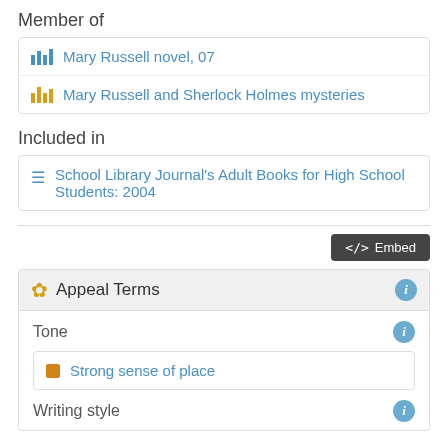Member of
Mary Russell novel, 07
Mary Russell and Sherlock Holmes mysteries
Included in
School Library Journal's Adult Books for High School Students: 2004
Embed
Appeal Terms
Tone
Strong sense of place
Writing style